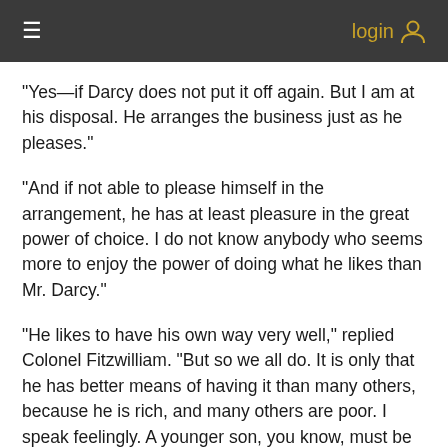≡  login
"Yes—if Darcy does not put it off again. But I am at his disposal. He arranges the business just as he pleases."
"And if not able to please himself in the arrangement, he has at least pleasure in the great power of choice. I do not know anybody who seems more to enjoy the power of doing what he likes than Mr. Darcy."
"He likes to have his own way very well," replied Colonel Fitzwilliam. "But so we all do. It is only that he has better means of having it than many others, because he is rich, and many others are poor. I speak feelingly. A younger son, you know, must be inured to self-denial and dependence."
"In my opinion, the younger son of an earl can know very little of...